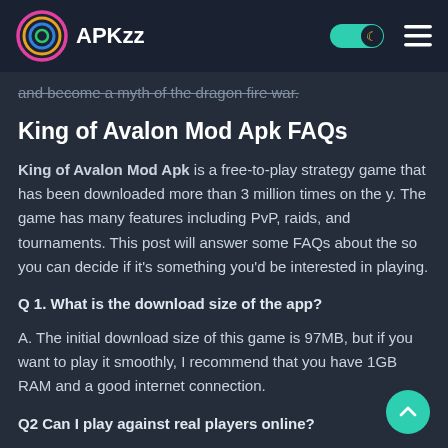APKzz
and become a myth of the dragon fire war.
King of Avalon Mod Apk FAQs
King of Avalon Mod Apk is a free-to-play strategy game that has been downloaded more than 3 million times on the y. The game has many features including PvP, raids, and tournaments. This post will answer some FAQs about the so you can decide if it's something you'd be interested in playing.
Q 1. What is the download size of the app?
A. The initial download size of this game is 97MB, but if you want to play it smoothly, I recommend that you have 1GB RAM and a good internet connection.
Q2 Can I play against real players online?